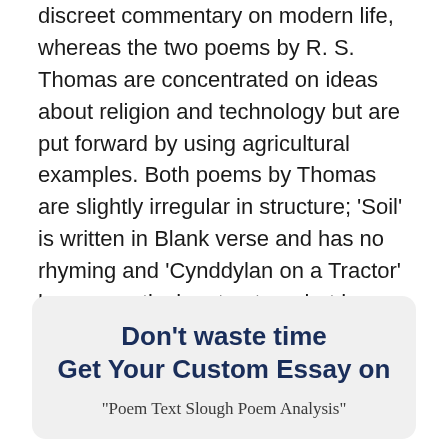discreet commentary on modern life, whereas the two poems by R. S. Thomas are concentrated on ideas about religion and technology but are put forward by using agricultural examples. Both poems by Thomas are slightly irregular in structure; 'Soil' is written in Blank verse and has no rhyming and 'Cynddylan on a Tractor' has no particular structure, but has slight rhyming of the end words at changing intervals.
Don't waste time
Get Your Custom Essay on
“Poem Text Slough Poem Analysis”